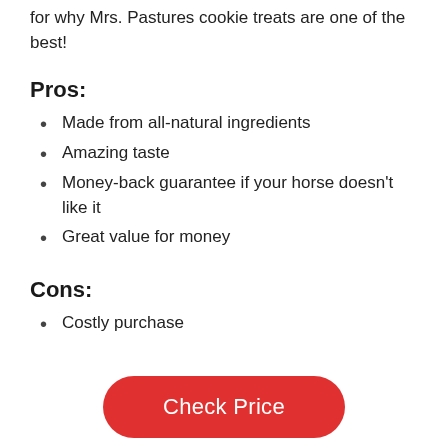for why Mrs. Pastures cookie treats are one of the best!
Pros:
Made from all-natural ingredients
Amazing taste
Money-back guarantee if your horse doesn't like it
Great value for money
Cons:
Costly purchase
[Figure (other): Red rounded button with white text reading 'Check Price']